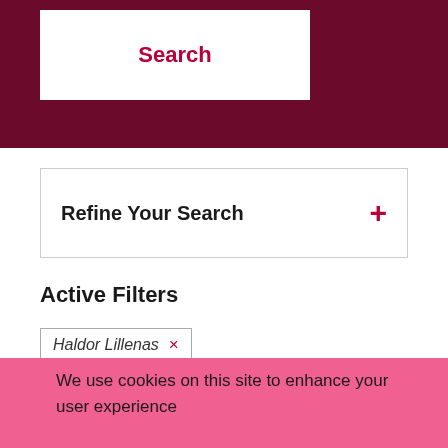Search
Refine Your Search +
Active Filters
Haldor Lillenas ×
We use cookies on this site to enhance your user experience
Dismiss
Review privacy policy